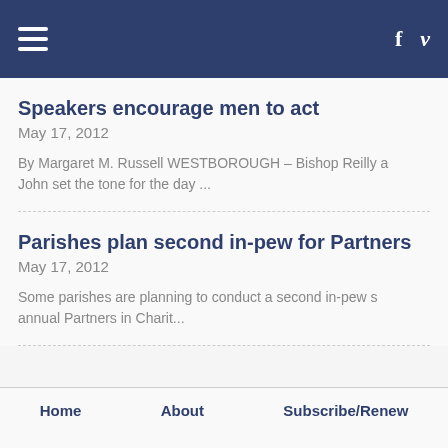Navigation header with hamburger menu, Facebook icon, Vimeo icon
Speakers encourage men to act
May 17, 2012
By Margaret M. Russell WESTBOROUGH – Bishop Reilly and John set the tone for the day ...
Parishes plan second in-pew for Partners
May 17, 2012
Some parishes are planning to conduct a second in-pew s annual Partners in Charit...
Home   About   Subscribe/Renew